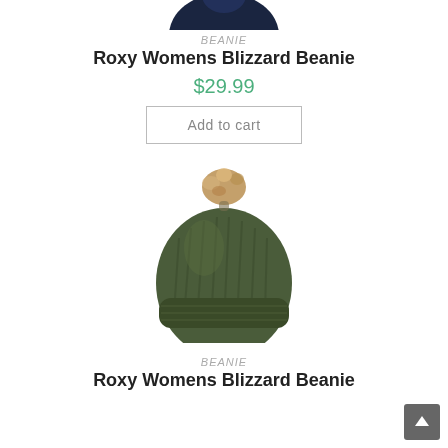[Figure (illustration): Partial image of a dark navy Roxy Womens Blizzard Beanie at the very top of the page (cropped)]
BEANIE
Roxy Womens Blizzard Beanie
$29.99
Add to cart
[Figure (illustration): Olive green knit Roxy Womens Blizzard Beanie with faux fur pom pom on top]
BEANIE
Roxy Womens Blizzard Beanie